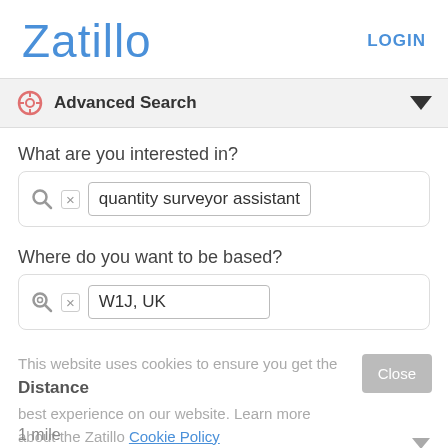Zatillo  LOGIN
Advanced Search
What are you interested in?
quantity surveyor assistant
Where do you want to be based?
W1J, UK
This website uses cookies to ensure you get the best experience on our website. Learn more about the Zatillo Cookie Policy
Distance
1 mile